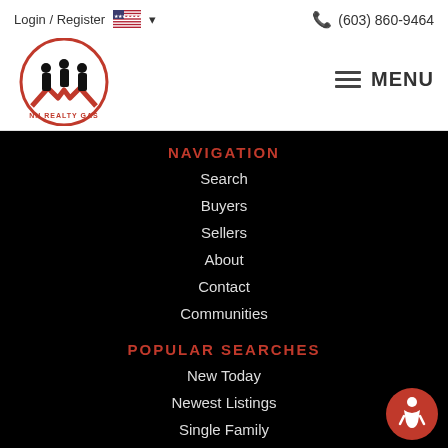Login / Register   🇺🇸 ▾
(603) 860-9464
[Figure (logo): NH Realty GAS circular logo with silhouette figures and red chevron]
≡ MENU
NAVIGATION
Search
Buyers
Sellers
About
Contact
Communities
POPULAR SEARCHES
New Today
Newest Listings
Single Family
Condos & Townhomes